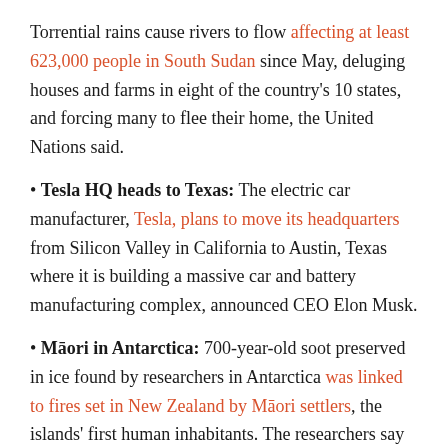Torrential rains cause rivers to flow affecting at least 623,000 people in South Sudan since May, deluging houses and farms in eight of the country's 10 states, and forcing many to flee their home, the United Nations said.
Tesla HQ heads to Texas: The electric car manufacturer, Tesla, plans to move its headquarters from Silicon Valley in California to Austin, Texas where it is building a massive car and battery manufacturing complex, announced CEO Elon Musk.
Māori in Antarctica: 700-year-old soot preserved in ice found by researchers in Antarctica was linked to fires set in New Zealand by Māori settlers, the islands' first human inhabitants. The researchers say the finding is an example of early humanity's environmental impact.